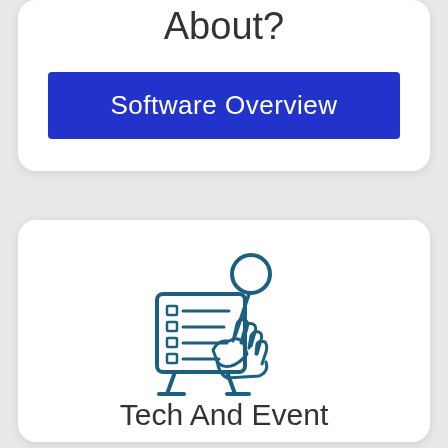About?
Software Overview
[Figure (illustration): Icon of a person using a tablet/checklist device with a pointing hand]
Tech And Event